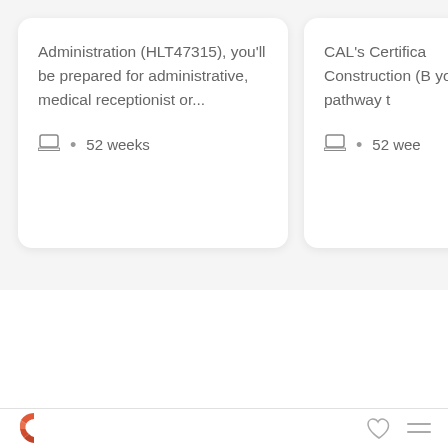Administration (HLT47315), you'll be prepared for administrative, medical receptionist or...
52 weeks
CAL's Certifica Construction (B your pathway t
52 wee
[Figure (logo): Circular logo with orange/red C letter, partially segmented]